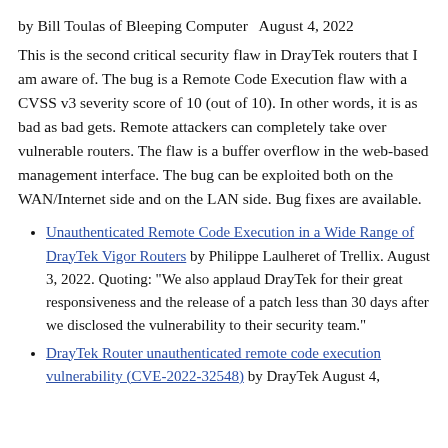by Bill Toulas of Bleeping Computer   August 4, 2022
This is the second critical security flaw in DrayTek routers that I am aware of. The bug is a Remote Code Execution flaw with a CVSS v3 severity score of 10 (out of 10). In other words, it is as bad as bad gets. Remote attackers can completely take over vulnerable routers. The flaw is a buffer overflow in the web-based management interface. The bug can be exploited both on the WAN/Internet side and on the LAN side. Bug fixes are available.
Unauthenticated Remote Code Execution in a Wide Range of DrayTek Vigor Routers by Philippe Laulheret of Trellix. August 3, 2022. Quoting: "We also applaud DrayTek for their great responsiveness and the release of a patch less than 30 days after we disclosed the vulnerability to their security team."
DrayTek Router unauthenticated remote code execution vulnerability (CVE-2022-32548) by DrayTek August 4,